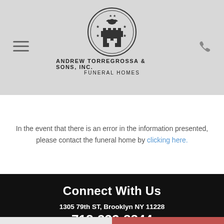[Figure (logo): Andrew Torregrossa & Sons, Inc. Funeral Homes logo — circular seal with eagle and tower, with text below]
In the event that there is an error in the information presented, please contact the funeral home by clicking here.
Connect With Us
1305 79th ST, Brooklyn NY 11228
718-232-8844
Share a memory
Send Flowers
Plant a Tree